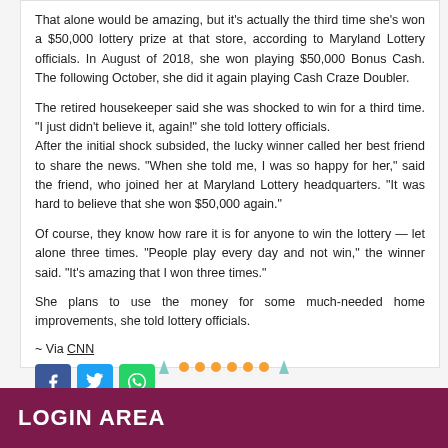That alone would be amazing, but it's actually the third time she's won a $50,000 lottery prize at that store, according to Maryland Lottery officials. In August of 2018, she won playing $50,000 Bonus Cash. The following October, she did it again playing Cash Craze Doubler.
The retired housekeeper said she was shocked to win for a third time. "I just didn't believe it, again!" she told lottery officials. After the initial shock subsided, the lucky winner called her best friend to share the news. "When she told me, I was so happy for her," said the friend, who joined her at Maryland Lottery headquarters. "It was hard to believe that she won $50,000 again."
Of course, they know how rare it is for anyone to win the lottery — let alone three times. "People play every day and not win," the winner said. "It's amazing that I won three times."
She plans to use the money for some much-needed home improvements, she told lottery officials.
~ Via CNN
[Figure (other): Social share buttons: Facebook (blue), Twitter (light blue), WhatsApp (green)]
[Figure (other): Row of orange dots and teal triangles decorative divider]
LOGIN AREA